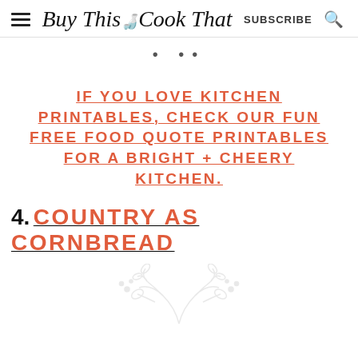Buy This Cook That | SUBSCRIBE
· · ·
IF YOU LOVE KITCHEN PRINTABLES, CHECK OUR FUN FREE FOOD QUOTE PRINTABLES FOR A BRIGHT + CHEERY KITCHEN.
4.  COUNTRY AS CORNBREAD
[Figure (illustration): Light gray decorative floral/branch illustration at bottom of page]